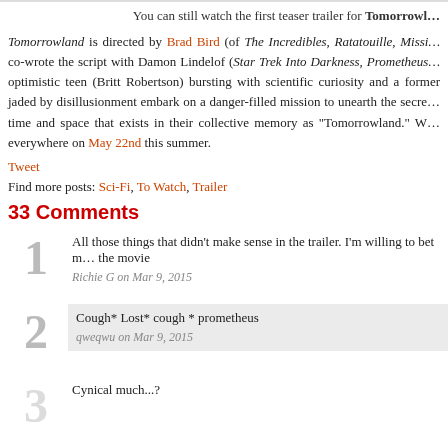You can still watch the first teaser trailer for Tomorrowland
Tomorrowland is directed by Brad Bird (of The Incredibles, Ratatouille, Mission...) co-wrote the script with Damon Lindelof (Star Trek Into Darkness, Prometheus...) optimistic teen (Britt Robertson) bursting with scientific curiosity and a former... jaded by disillusionment embark on a danger-filled mission to unearth the secret... time and space that exists in their collective memory as "Tomorrowland." W... everywhere on May 22nd this summer.
Tweet
Find more posts: Sci-Fi, To Watch, Trailer
33 Comments
All those things that didn't make sense in the trailer. I'm willing to bet n... the movie
Richie G on Mar 9, 2015
Cough* Lost* cough * prometheus
qweqwu on Mar 9, 2015
Cynical much...?